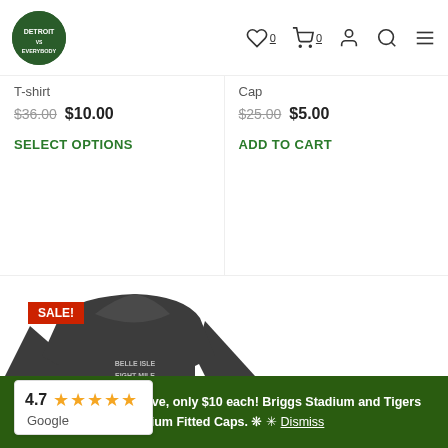Detroit Vs Everybody store header with logo and nav icons (wishlist 0, cart 0, account, search, menu)
T-shirt
$36.00 $10.00
SELECT OPTIONS
Cap
$25.00 $5.00
ADD TO CART
[Figure (photo): Gray long-sleeve shirt with Detroit neighborhood names printed vertically on chest including Belle Isle, Eight Mile, Fair Grounds, Grand River, Gratiot, Mack, Michigan, Outer Drive, Ford House, City B, Fernhill, Woodward, Zoo. Red SALE! badge in top left.]
4.7 ★★★★★ Google
🌟 🌟 Stock up and save, only $10 each! Briggs Stadium and Tigers Stadium Fitted Caps. 🌟 🌟 Dismiss